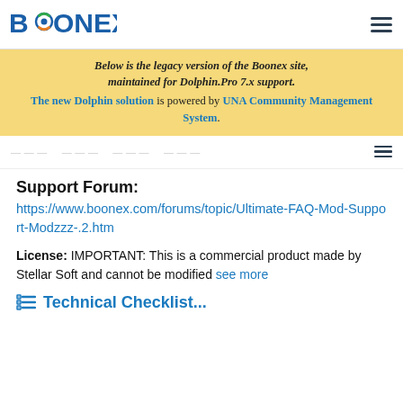BOONEX
Below is the legacy version of the Boonex site, maintained for Dolphin.Pro 7.x support. The new Dolphin solution is powered by UNA Community Management System.
Support Forum:
https://www.boonex.com/forums/topic/Ultimate-FAQ-Mod-Support-Modzzz-.2.htm
License: IMPORTANT: This is a commercial product made by Stellar Soft and cannot be modified see more
Technical Checklist...